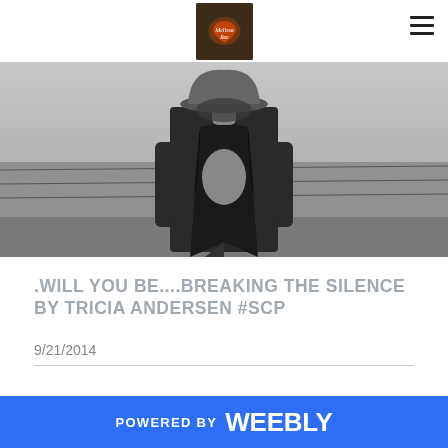Melissa Rae [logo]
[Figure (photo): Black and white photo of a man wearing a cowboy hat and open denim/flannel shirt in front of barbed wire fence]
.WILL YOU BE....BREAKING THE SILENCE BY TRICIA ANDERSEN #SCP
9/21/2014
POWERED BY weebly